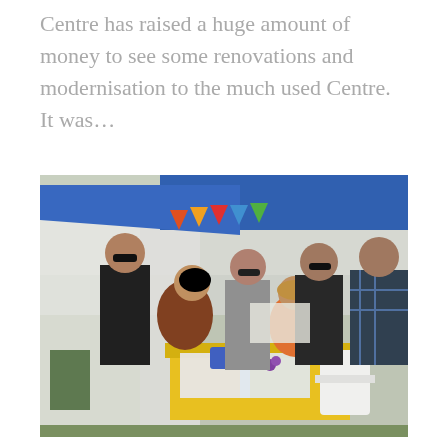Centre has raised a huge amount of money to see some renovations and modernisation to the much used Centre. It was...
[Figure (photo): Outdoor event under a blue canopy tent with colorful bunting. Several people gather around a table with a yellow tablecloth. A woman in a brown dress leans over the table writing, while a woman in an orange top sits across. Three men stand in the background. Green field visible behind.]